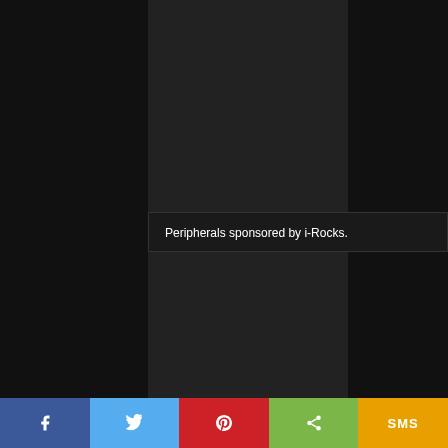[Figure (screenshot): Dark background webpage screenshot with a video player area showing a dark/black frame with a caption overlay reading 'Peripherals sponsored by i-Rocks.' and social sharing buttons at the bottom (Facebook, Twitter, Pinterest, Share, SMS).]
Peripherals sponsored by i-Rocks.
f  [Twitter bird]  [Pinterest P]  [Share icon]  SMS